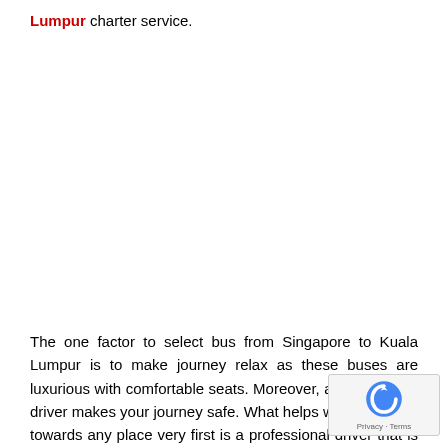Lumpur charter service.
The one factor to select bus from Singapore to Kuala Lumpur is to make journey relax as these buses are luxurious with comfortable seats. Moreover, a professional driver makes your journey safe. What helps while traveling towards any place very first is a professional driver that is well aware of all the way and can make your journey secure.